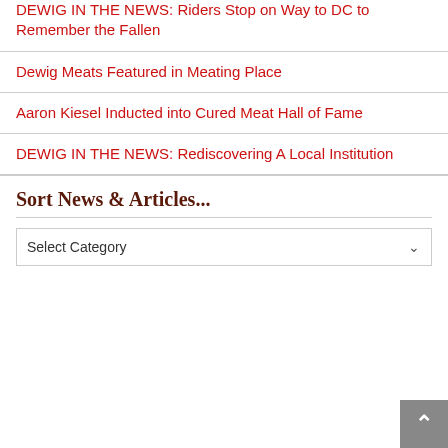DEWIG IN THE NEWS: Riders Stop on Way to DC to Remember the Fallen
Dewig Meats Featured in Meating Place
Aaron Kiesel Inducted into Cured Meat Hall of Fame
DEWIG IN THE NEWS: Rediscovering A Local Institution
Sort News & Articles...
Select Category